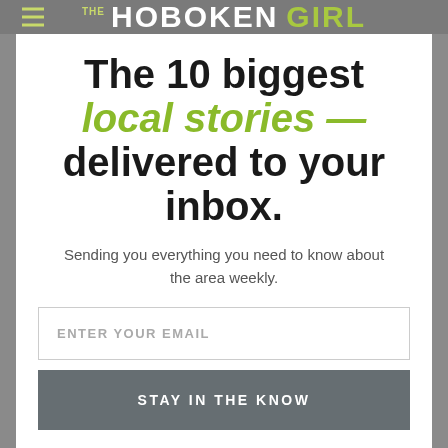THE HOBOKEN GIRL
The 10 biggest local stories — delivered to your inbox.
Sending you everything you need to know about the area weekly.
ENTER YOUR EMAIL
STAY IN THE KNOW
THE HOBOKEN GIRL TEAM